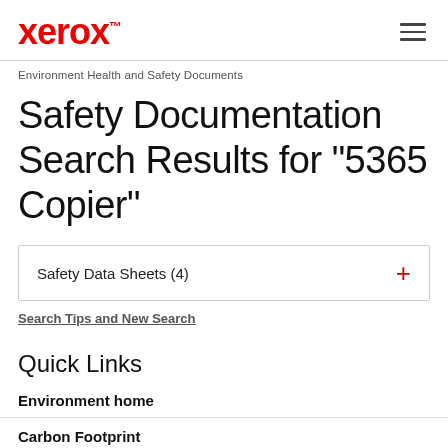xerox™
Environment Health and Safety Documents
Safety Documentation Search Results for "5365 Copier"
Safety Data Sheets (4)
Search Tips and New Search
Quick Links
Environment home
Carbon Footprint